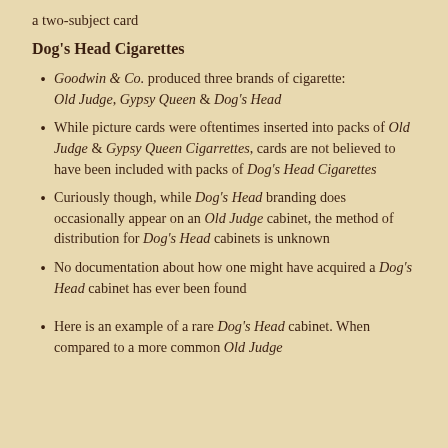a two-subject card
Dog's Head Cigarettes
Goodwin & Co. produced three brands of cigarette: Old Judge, Gypsy Queen & Dog's Head
While picture cards were oftentimes inserted into packs of Old Judge & Gypsy Queen Cigarrettes, cards are not believed to have been included with packs of Dog's Head Cigarettes
Curiously though, while Dog's Head branding does occasionally appear on an Old Judge cabinet, the method of distribution for Dog's Head cabinets is unknown
No documentation about how one might have acquired a Dog's Head cabinet has ever been found
Here is an example of a rare Dog's Head cabinet. When compared to a more common Old Judge